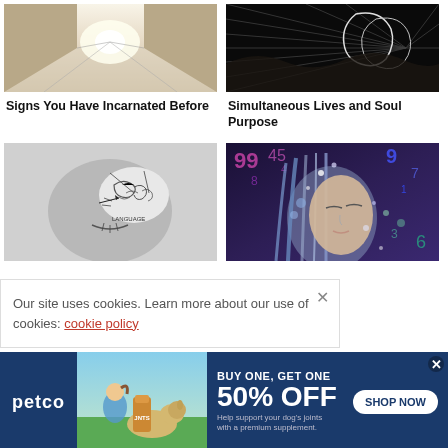[Figure (photo): Perspective corridor hallway with reflective floor, bright light at end]
[Figure (photo): Dark background with glowing white outline of two faces and radiating lines]
Signs You Have Incarnated Before
Simultaneous Lives and Soul Purpose
[Figure (photo): Black and white image of a human head model with exposed brain diagram]
[Figure (photo): Woman with eyes closed, colorful numbers floating around her hair]
Our site uses cookies. Learn more about our use of cookies: cookie policy
[Figure (photo): Petco advertisement: BUY ONE, GET ONE 50% OFF. Help support your dog's joints with a premium supplement. SHOP NOW. Shows person with dog and supplement product.]